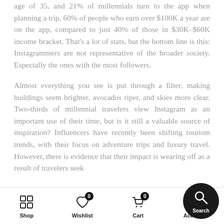age of 35, and 21% of millennials turn to the app when planning a trip. 60% of people who earn over $100K a year are on the app, compared to just 40% of those in $30K–$60K income bracket. That's a lot of stats, but the bottom line is this: Instagrammers are not representative of the broader society. Especially the ones with the most followers.
Almost everything you see is put through a filter, making buildings seem brighter, avocados riper, and skies more clear. Two-thirds of millennial travelers view Instagram as an important use of their time, but is it still a valuable source of inspiration? Influencers have recently been shifting tourism trends, with their focus on adventure trips and luxury travel. However, there is evidence that their impact is wearing off as a result of travelers seek
Shop | Wishlist | Cart | Account | Search